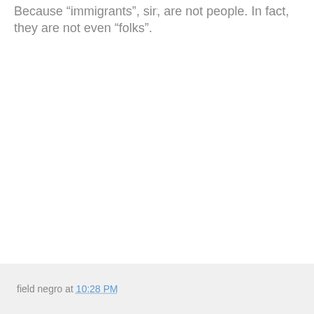Because "immigrants", sir, are not people. In fact, they are not even "folks".
field negro at 10:28 PM